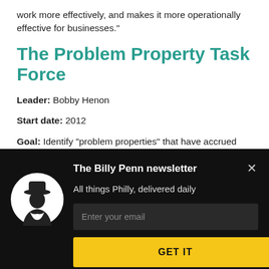work more effectively, and makes it more operationally effective for businesses."
The Problem Property Task Force
Leader: Bobby Henon
Start date: 2012
Goal: Identify “problem properties” that have accrued two or more code violations in the previous 24 months
[Figure (screenshot): Billy Penn newsletter subscription modal overlay with dark background, logo, email input field, and GET IT button]